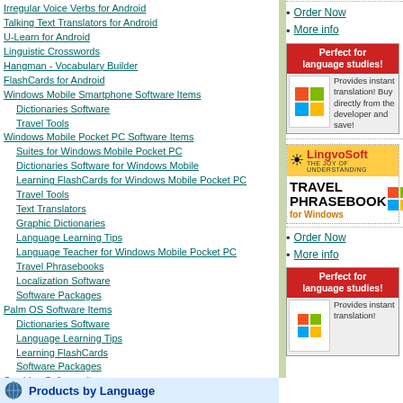Irregular Voice Verbs for Android
Talking Text Translators for Android
U-Learn for Android
Linguistic Crosswords
Hangman - Vocabulary Builder
FlashCards for Android
Windows Mobile Smartphone Software Items
Dictionaries Software
Travel Tools
Windows Mobile Pocket PC Software Items
Suites for Windows Mobile Pocket PC
Dictionaries Software for Windows Mobile
Learning FlashCards for Windows Mobile Pocket PC
Travel Tools
Text Translators
Graphic Dictionaries
Language Learning Tips
Language Teacher for Windows Mobile Pocket PC
Travel Phrasebooks
Localization Software
Software Packages
Palm OS Software Items
Dictionaries Software
Language Learning Tips
Learning FlashCards
Software Packages
Symbian Software Items
Nokia Software Items
Language Learning Tips
Sony Ericsson Software Items
Order Now
More info
[Figure (infographic): Perfect for language studies ad box with red header and Windows logo, text: Provides instant translation! Buy directly from the developer and save!]
[Figure (infographic): LingvoSoft Travel Phrasebook for Windows advertisement with yellow header, sun logo, red LingvoSoft title, and Windows logo]
Order Now
More info
[Figure (infographic): Perfect for language studies ad box - second instance]
Show All
Products by Language